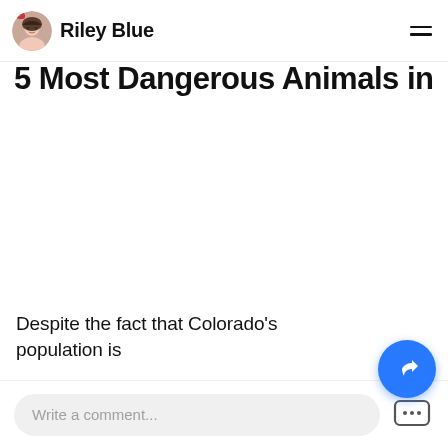Riley Blue
5 Most Dangerous Animals in Colorado
[Figure (photo): Blank/white image area for article photo]
Despite the fact that Colorado's population is
Write a comment...